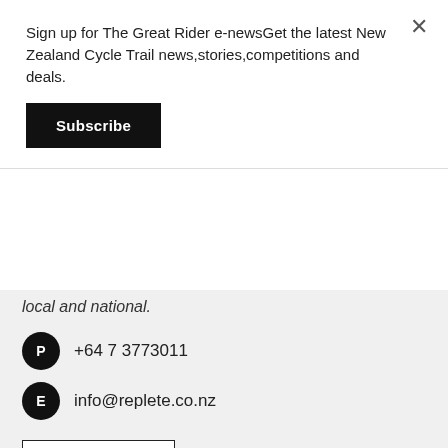Sign up for The Great Rider e-newsGet the latest New Zealand Cycle Trail news,stories,competitions and deals.
Subscribe
local and national.
+64 7 3773011
info@replete.co.nz
Visit Website ›
Tihoi Tavern
Great little country pub with good food and friendly atmosphere. Come in and enjoy some hot chips and a cold drink after your ride on the Great